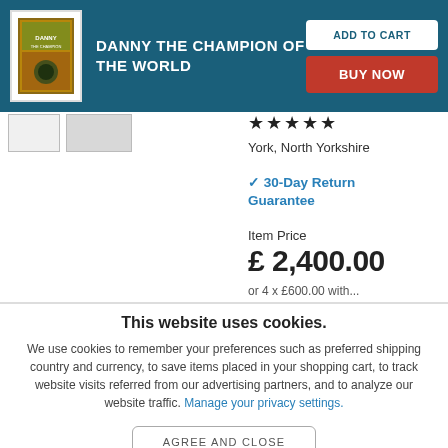DANNY THE CHAMPION OF THE WORLD
ADD TO CART
BUY NOW
[Figure (photo): Book cover thumbnail for Danny the Champion of the World]
★★★★★ York, North Yorkshire
✓ 30-Day Return Guarantee
Item Price £ 2,400.00
This website uses cookies.
We use cookies to remember your preferences such as preferred shipping country and currency, to save items placed in your shopping cart, to track website visits referred from our advertising partners, and to analyze our website traffic. Manage your privacy settings.
AGREE AND CLOSE